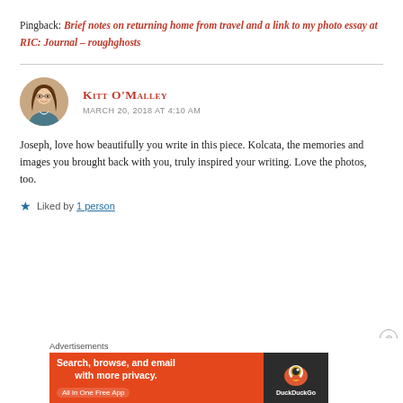Pingback: Brief notes on returning home from travel and a link to my photo essay at RIC: Journal – roughghosts
Kitt O'Malley
MARCH 20, 2018 AT 4:10 AM
Joseph, love how beautifully you write in this piece. Kolcata, the memories and images you brought back with you, truly inspired your writing. Love the photos, too.
Liked by 1 person
[Figure (photo): Avatar photo of Kitt O'Malley, a woman with brown hair and glasses, smiling]
Advertisements
[Figure (screenshot): DuckDuckGo advertisement banner: Search, browse, and email with more privacy. All in One Free App. DuckDuckGo logo on dark background.]